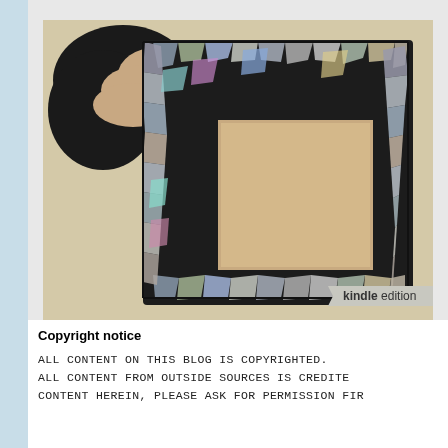[Figure (photo): A hand holding a square picture frame decorated with mosaic pieces made from broken CDs/DVDs with iridescent reflective shards set in dark grout. The frame has a square opening in the center showing a plain beige/tan surface. A 'kindle edition' badge appears in the bottom-right corner of the image.]
Copyright notice
ALL CONTENT ON THIS BLOG IS COPYRIGHTED. ALL CONTENT FROM OUTSIDE SOURCES IS CREDITED. CONTENT HEREIN, PLEASE ASK FOR PERMISSION FIR